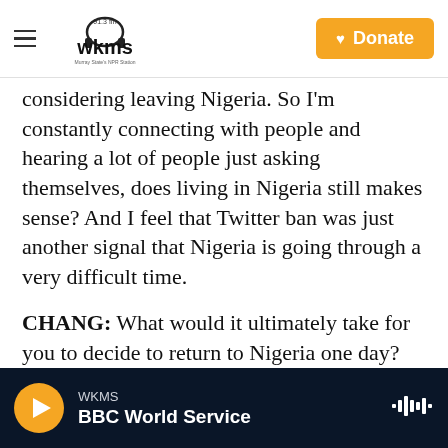WKMS 91.3 FM — Murray State's NPR Station | Donate
considering leaving Nigeria. So I'm constantly connecting with people and hearing a lot of people just asking themselves, does living in Nigeria still makes sense? And I feel that Twitter ban was just another signal that Nigeria is going through a very difficult time.
CHANG: What would it ultimately take for you to decide to return to Nigeria one day?
UWAZIE: I would have to see a real infrastructure shift in the Nigerian government. For example, if you're setting up
WKMS — BBC World Service